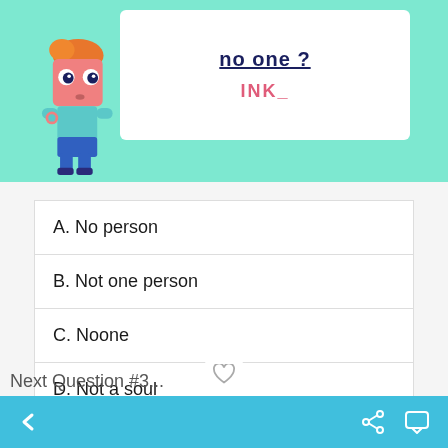[Figure (illustration): Cartoon character with orange hair and pink square body wearing blue shirt and blue pants, standing against a teal/mint green background. A white card to the right shows bold dark blue title text (partially cut off) and 'INK_' in pink/red text below it.]
A. No person
B. Not one person
C. Noone
D. Not a soul
< navigation bar with share and chat icons